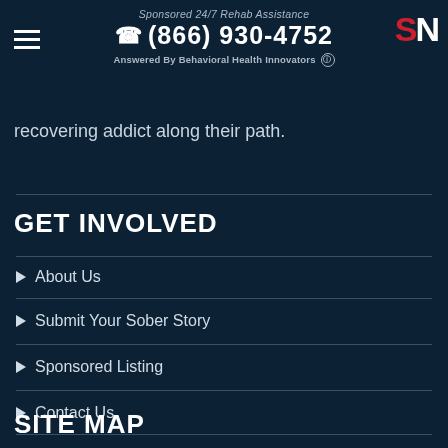Sponsored 24/7 Rehab Assistance ☎ (866) 930-4752 Answered By Behavioral Health Innovators
recovering addict along their path.
GET INVOLVED
About Us
Submit Your Sober Story
Sponsored Listing
Contact Us
SITE MAP